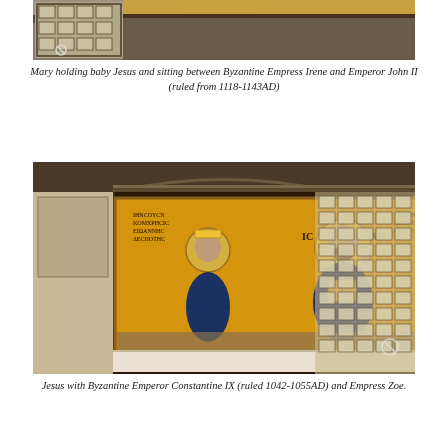[Figure (photo): Top portion of a photograph showing interior of Hagia Sophia with windows and mosaic artwork, partially cropped]
Mary holding baby Jesus and sitting between Byzantine Empress Irene and Emperor John II (ruled from 1118-1143AD)
[Figure (photo): Photograph of a Byzantine mosaic in Hagia Sophia showing Jesus Christ seated on a throne, flanked by figures, with golden background and Greek inscriptions IC XC, with ornate window grilles visible to the right]
Jesus with Byzantine Emperor Constantine IX (ruled 1042-1055AD) and Empress Zoe.